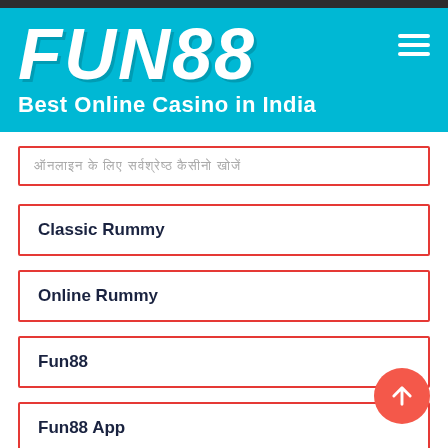[Figure (logo): FUN88 logo - white bold italic text on cyan/teal background]
Best Online Casino in India
ऑनलाइन के लिए सर्वश्रेष्ठ कैसीनो खोजें
Classic Rummy
Online Rummy
Fun88
Fun88 App